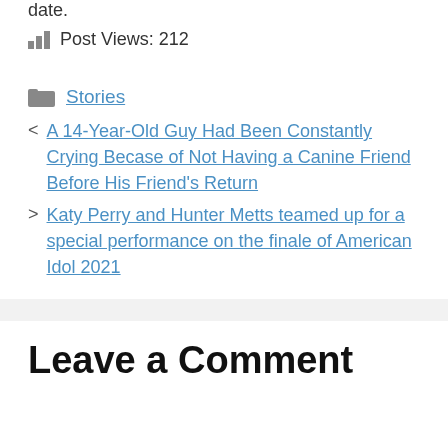date.
Post Views: 212
Stories
< A 14-Year-Old Guy Had Been Constantly Crying Becase of Not Having a Canine Friend Before His Friend's Return
> Katy Perry and Hunter Metts teamed up for a special performance on the finale of American Idol 2021
Leave a Comment